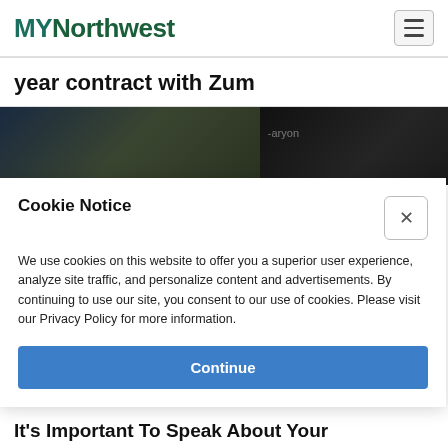MYNorthwest
year contract with Zum
[Figure (photo): Dark photo showing interior of a vehicle or similar scene, split into two sections with dark tones]
Cookie Notice
We use cookies on this website to offer you a superior user experience, analyze site traffic, and personalize content and advertisements. By continuing to use our site, you consent to our use of cookies. Please visit our Privacy Policy for more information.
It's Important To Speak About Your